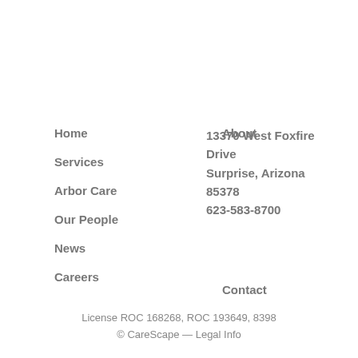Home
About
Services
Arbor Care
Our People
News
Careers
Contact
13370 West Foxfire Drive
Surprise, Arizona 85378
623-583-8700
License ROC 168268, ROC 193649, 8398
© CareScape — Legal Info